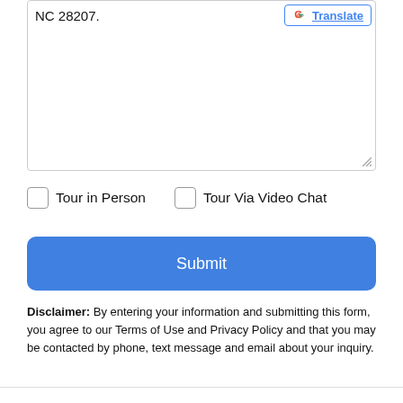NC 28207.
Tour in Person    Tour Via Video Chat
Submit
Disclaimer: By entering your information and submitting this form, you agree to our Terms of Use and Privacy Policy and that you may be contacted by phone, text message and email about your inquiry.
[Figure (logo): MLS GRID logo]
Based on information submitted to the MLS GRID as of 2022-08-22T17:33:39.77 UTC. All data is obtained from various sources and has not been, and will not be, verified by the MLS GRID.
Take a Tour
Ask A Question